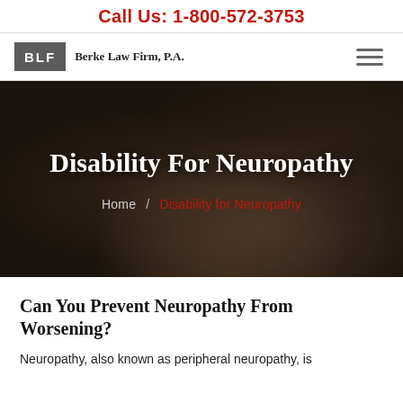Call Us: 1-800-572-3753
[Figure (logo): Berke Law Firm, P.A. logo with BLF monogram in gray box]
[Figure (photo): Dark moody background photo of a judge's gavel on a desk with books, overlaid with text]
Disability For Neuropathy
Home / Disability for Neuropathy
Can You Prevent Neuropathy From Worsening?
Neuropathy, also known as peripheral neuropathy, is